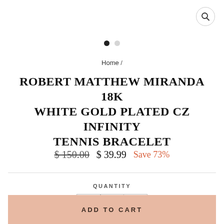[Figure (other): Search icon button (magnifying glass) in top-right corner]
[Figure (other): Image slideshow dot indicators: one filled black dot and one grey dot]
Home /
ROBERT MATTHEW MIRANDA 18K WHITE GOLD PLATED CZ INFINITY TENNIS BRACELET
$150.00  $ 39.99  Save 73%
QUANTITY
- 1 +
ADD TO CART